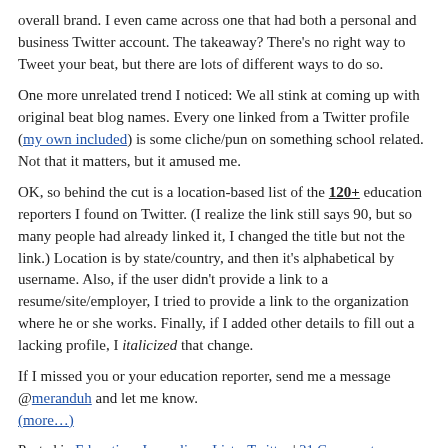overall brand. I even came across one that had both a personal and business Twitter account. The takeaway? There's no right way to Tweet your beat, but there are lots of different ways to do so.
One more unrelated trend I noticed: We all stink at coming up with original beat blog names. Every one linked from a Twitter profile (my own included) is some cliche/pun on something school related. Not that it matters, but it amused me.
OK, so behind the cut is a location-based list of the 120+ education reporters I found on Twitter. (I realize the link still says 90, but so many people had already linked it, I changed the title but not the link.) Location is by state/country, and then it's alphabetical by username. Also, if the user didn't provide a link to a resume/site/employer, I tried to provide a link to the organization where he or she works. Finally, if I added other details to fill out a lacking profile, I italicized that change.
If I missed you or your education reporter, send me a message @meranduh and let me know.
(more…)
Posted in Education, Journalism, Lists, Twitter | 21 Comments »
« Previous Entries